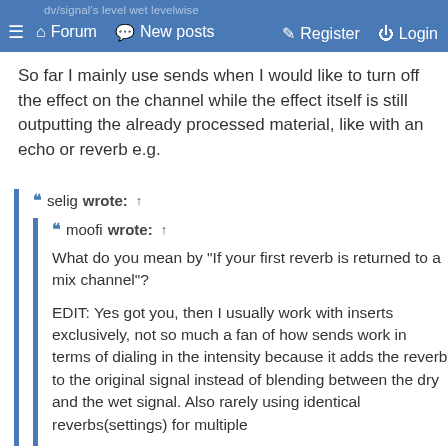dv/signal's level wet levelwise
≡  ⌂ Forum  ✉ New posts    ✎ Register  ⏻ Login
So far I mainly use sends when I would like to turn off the effect on the channel while the effect itself is still outputting the already processed material, like with an echo or reverb e.g.
selig wrote: ↑

moofi wrote: ↑

What do you mean by "If your first reverb is returned to a mix channel"?

EDIT: Yes got you, then I usually work with inserts exclusively, not so much a fan of how sends work in terms of dialing in the intensity because it adds the reverb to the original signal instead of blending between the dry and the wet signal. Also rarely using identical reverbs(settings) for multiple